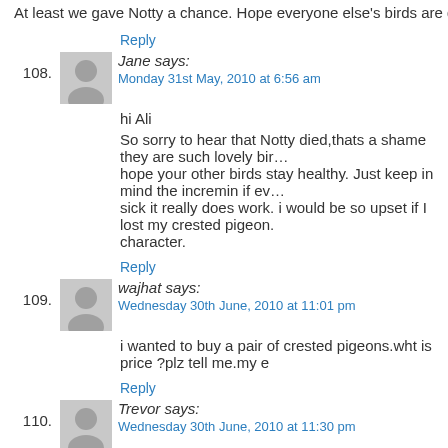At least we gave Notty a chance. Hope everyone else's birds are going...
Reply
Jane says:
Monday 31st May, 2010 at 6:56 am
hi Ali
So sorry to hear that Notty died,thats a shame they are such lovely birds... hope your other birds stay healthy. Just keep in mind the incremin if ever sick it really does work. i would be so upset if I lost my crested pigeon. character.
Reply
wajhat says:
Wednesday 30th June, 2010 at 11:01 pm
i wanted to buy a pair of crested pigeons.wht is price ?plz tell me.my e
Reply
Trevor says:
Wednesday 30th June, 2010 at 11:30 pm
Hi there Wajhat,